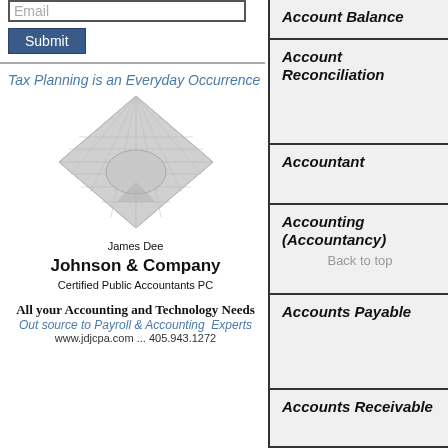Email
Submit
[Figure (logo): James Dee Johnson & Company Certified Public Accountants PC advertisement with geometric logo image. Text: 'Tax Planning is an Everyday Occurrence', 'All your Accounting and Technology Needs', 'Out source to Payroll & Accounting Experts', 'www.jdjcpa.com ... 405.943.1272']
| Account Balance |
| Account Reconciliation |
| Accountant |
| Accounting (Accountancy) | Back to top |
| Accounts Payable |
| Accounts Receivable |